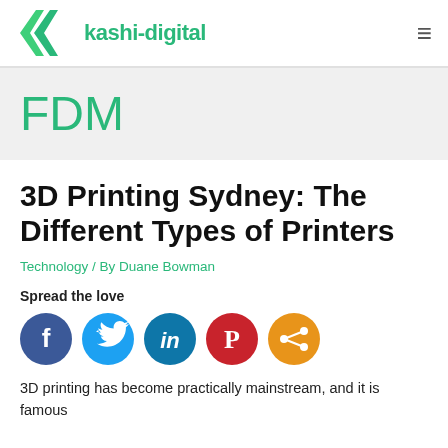kashi-digital
FDM
3D Printing Sydney: The Different Types of Printers
Technology / By Duane Bowman
Spread the love
[Figure (other): Social share icons: Facebook (blue), Twitter (light blue), LinkedIn (teal), Pinterest (red), Share (orange)]
3D printing has become practically mainstream, and it is famous